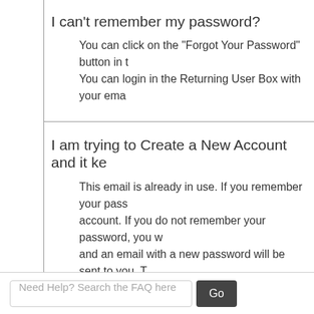I can't remember my password?
You can click on the "Forgot Your Password" button in the Returning User Box with your ema
I am trying to Create a New Account and it ke
This email is already in use. If you remember your password, you can login to your account. If you do not remember your password, you will need to use the Forgot Password and an email with a new password will be sent to you. You can then change your password as desired. You can only have one account per company using your email address. You can create an account without an email address? Click here for a free email address"
I am trying to create a new account and I keep getting the message "All fields must be completed before you can proceed".
Need Help? Search the FAQ here